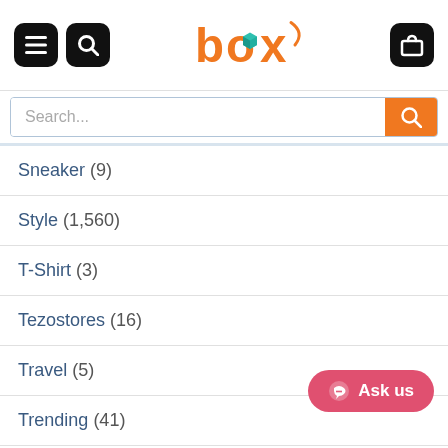BOX logo with menu and search icons
Sneaker (9)
Style (1,560)
T-Shirt (3)
Tezostores (16)
Travel (5)
Trending (41)
Uncategorized (45)
UTRUSTSHOP (5)
Yard sign (6)